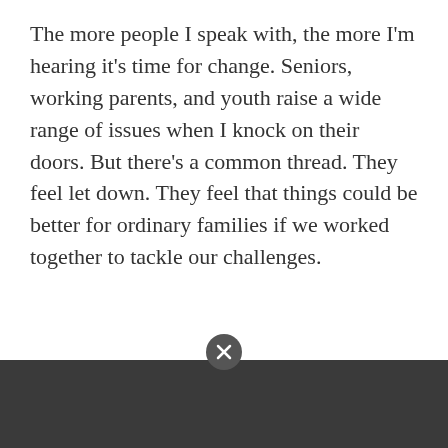The more people I speak with, the more I'm hearing it's time for change. Seniors, working parents, and youth raise a wide range of issues when I knock on their doors. But there's a common thread. They feel let down. They feel that things could be better for ordinary families if we worked together to tackle our challenges.